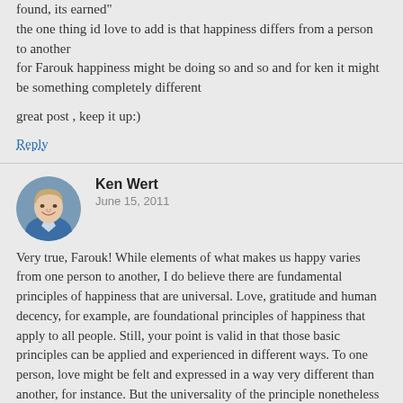found, its earned"
the one thing id love to add is that happiness differs from a person to another
for Farouk happiness might be doing so and so and for ken it might be something completely different

great post , keep it up:)
Reply
Ken Wert
June 15, 2011
Very true, Farouk! While elements of what makes us happy varies from one person to another, I do believe there are fundamental principles of happiness that are universal. Love, gratitude and human decency, for example, are foundational principles of happiness that apply to all people. Still, your point is valid in that those basic principles can be applied and experienced in different ways. To one person, love might be felt and expressed in a way very different than another, for instance. But the universality of the principle nonetheless holds true too.